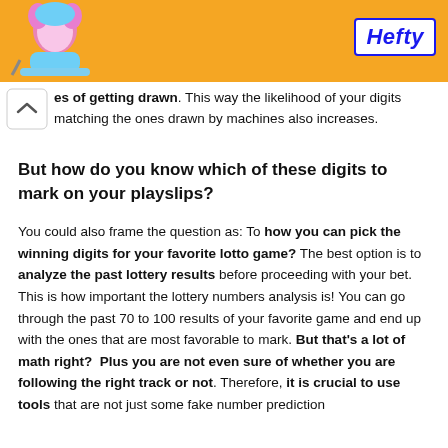[Figure (other): Orange Hefty advertisement banner with animated character on left and Hefty logo on right]
es of getting drawn. This way the likelihood of your digits matching the ones drawn by machines also increases.
But how do you know which of these digits to mark on your playslips?
You could also frame the question as: To how you can pick the winning digits for your favorite lotto game? The best option is to analyze the past lottery results before proceeding with your bet. This is how important the lottery numbers analysis is! You can go through the past 70 to 100 results of your favorite game and end up with the ones that are most favorable to mark. But that's a lot of math right?  Plus you are not even sure of whether you are following the right track or not. Therefore, it is crucial to use tools that are not just some fake number prediction